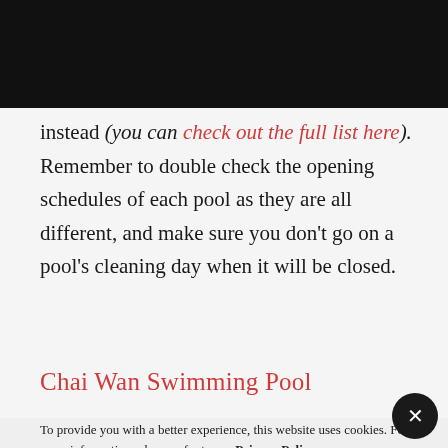instead (you can check out the full list here). Remember to double check the opening schedules of each pool as they are all different, and make sure you don't go on a pool's cleaning day when it will be closed.
Chai Wan Swimming Pool
To provide you with a better experience, this website uses cookies. For more information, please refer to our Privacy Policy